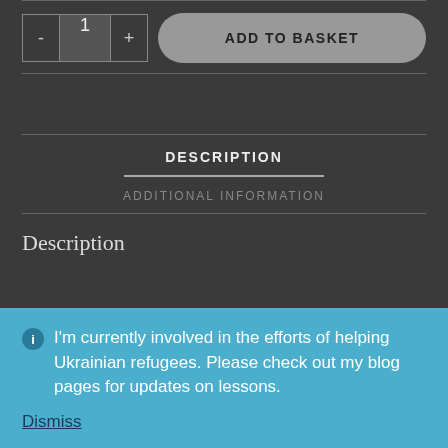[Figure (screenshot): Quantity selector with minus button, quantity input showing 1, and plus button]
[Figure (screenshot): Add to Basket button, rounded gray pill shape]
DESCRIPTION
ADDITIONAL INFORMATION
Description
I'm currently involved in the efforts of helping Ukrainian refugees. Please check out my blog pages for updates on lessons.
Dismiss